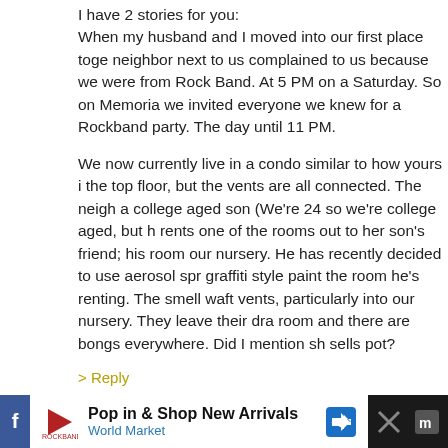I have 2 stories for you: When my husband and I moved into our first place together, the neighbor next to us complained to us because we were playing songs from Rock Band. At 5 PM on a Saturday. So on Memorial Day weekend, we invited everyone we knew for a Rockband party. The entire day until 11 PM.
We now currently live in a condo similar to how yours is described, on the top floor, but the vents are all connected. The neighbor below has a college aged son (We're 24 so we're college aged, but here we are) who rents one of the rooms out to her son's friend; his room is below our nursery. He has recently decided to use aerosol spray cans to graffiti style paint the room he's renting. The smell wafts through the vents, particularly into our nursery. They leave their drapes open in his room and there are bongs everywhere. Did I mention she sells pot?
> Reply
128.  Kristy says:
[Figure (screenshot): Advertisement bar at bottom: Pop in & Shop New Arrivals, World Market, with navigation arrow logo. Dark bar on right with X close button and social media icons.]